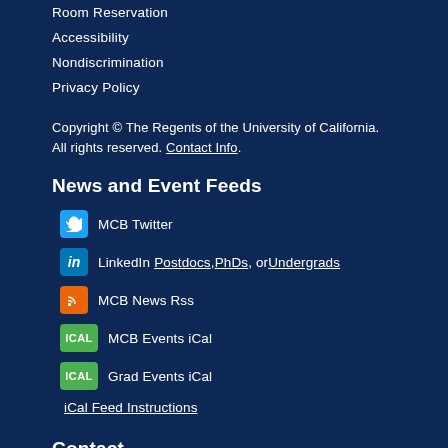Room Reservation
Accessibility
Nondiscrimination
Privacy Policy
Copyright © The Regents of the University of California. All rights reserved. Contact Info.
News and Event Feeds
MCB Twitter
LinkedIn Postdocs, PhDs, or Undergrads
MCB News Rss
MCB Events iCal
Grad Events iCal
iCal Feed Instructions
Contact
University of California, Berkeley
Dept. of Molecular & Cell Biology